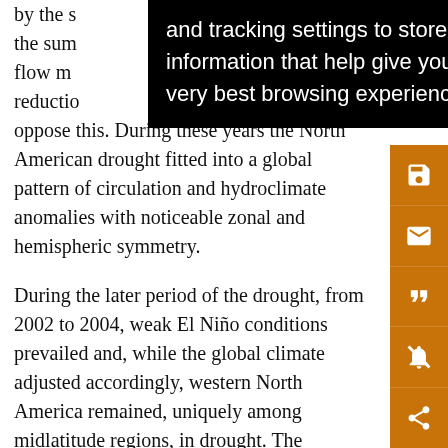by the s... g the sum... flow m... n reductio... w to oppose this. During these years the North American drought fitted into a global pattern of circulation and hydroclimate anomalies with noticeable zonal and hemispheric symmetry.
During the later period of the drought, from 2002 to 2004, weak El Niño conditions prevailed and, while the global climate adjusted accordingly, western North America remained, uniquely among midlatitude regions, in drought. The ensemble mean of the climate model simulations did not simulate the continuation of the drought in these years, suggesting that the termination of the drought was